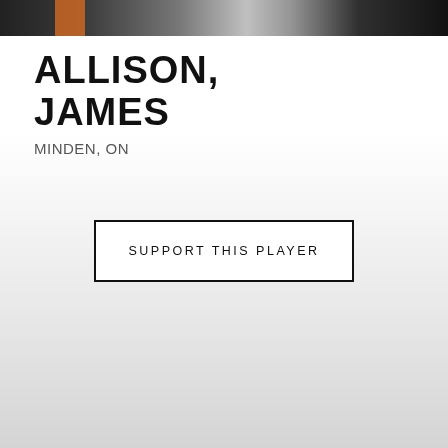[Figure (photo): Partial photo strip at top showing hockey players in team uniforms with orange accents, cropped to a banner strip]
ALLISON, JAMES
MINDEN, ON
SUPPORT THIS PLAYER